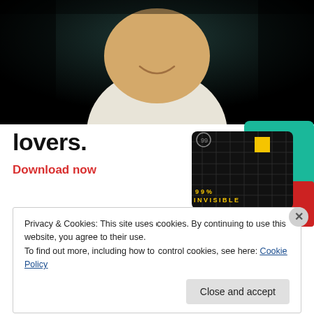[Figure (photo): Close-up photo of a person's lower face and neck area, with dark teal/black background. The person appears to be smiling, wearing a light-colored top.]
lovers.
Download now
[Figure (illustration): Advertisement image showing a black card with yellow square and grid pattern labeled '99% INVISIBLE', alongside a teal card with 'On' text visible, and a red/blue card partially visible.]
Privacy & Cookies: This site uses cookies. By continuing to use this website, you agree to their use.
To find out more, including how to control cookies, see here: Cookie Policy
Close and accept